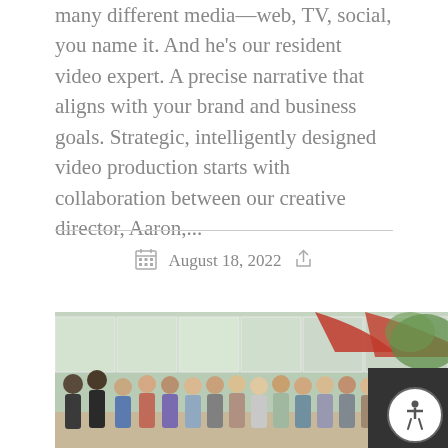many different media—web, TV, social, you name it. And he's our resident video expert. A precise narrative that aligns with your brand and business goals. Strategic, intelligently designed video production starts with collaboration between our creative director, Aaron,...
August 18, 2022
[Figure (photo): Group photo of approximately 15-16 people standing together outdoors in front of a building with large windows and a red umbrella/awning visible. The group appears to be a company team photo taken at what looks like a restaurant or office patio setting.]